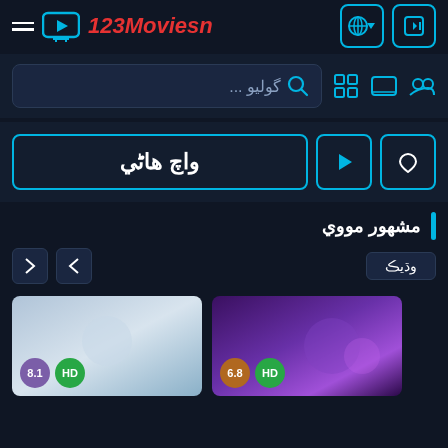123Moviesn
گوليو ...
واچ هاٹي
مشهور مووي
وڌيڪ
[Figure (screenshot): Movie card with rating 8.1 and HD badge, light blue/gray background]
[Figure (screenshot): Movie card with rating 6.8 and HD badge, purple/dark background]